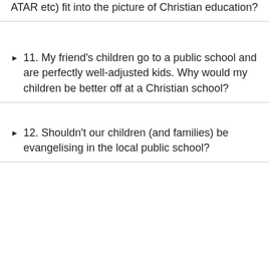ATAR etc) fit into the picture of Christian education?
11. My friend's children go to a public school and are perfectly well-adjusted kids. Why would my children be better off at a Christian school?
12. Shouldn't our children (and families) be evangelising in the local public school?